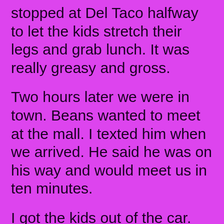stopped at Del Taco halfway to let the kids stretch their legs and grab lunch. It was really greasy and gross.
Two hours later we were in town. Beans wanted to meet at the mall. I texted him when we arrived. He said he was on his way and would meet us in ten minutes.
I got the kids out of the car. We walked in and to the food court. I bought the three of us lemonade. I sat at a table and the kids took off their shoes and entered the play area.
Thats when I felt it.